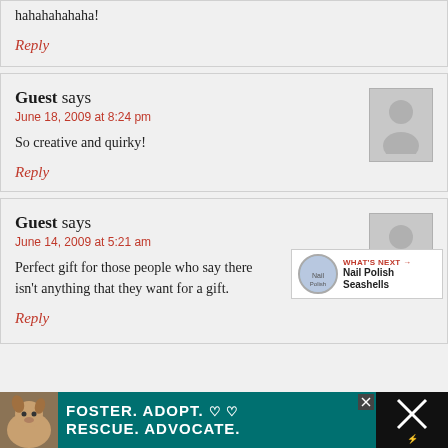hahahahahaha!
Reply
Guest says
June 18, 2009 at 8:24 pm
So creative and quirky!
Reply
Guest says
June 14, 2009 at 5:21 am
Perfect gift for those people who say there isn't anything that they want for a gift.
Reply
[Figure (infographic): What's Next box showing Nail Polish Seashells with thumbnail]
[Figure (infographic): Foster. Adopt. Rescue. Advocate. ad banner with dog image]